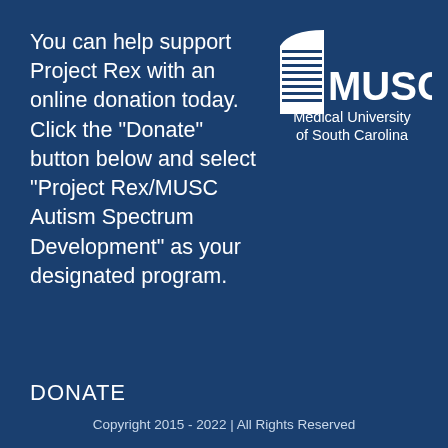You can help support Project Rex with an online donation today. Click the "Donate" button below and select "Project Rex/MUSC Autism Spectrum Development" as your designated program.
[Figure (logo): MUSC (Medical University of South Carolina) logo with building icon and text]
DONATE
Copyright 2015 - 2022 | All Rights Reserved